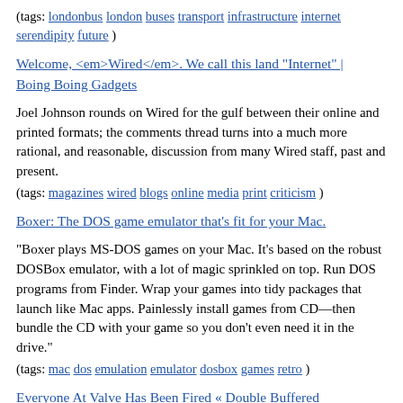(tags: londonbus london buses transport infrastructure internet serendipity future )
Welcome, <em>Wired</em>. We call this land "Internet" | Boing Boing Gadgets
Joel Johnson rounds on Wired for the gulf between their online and printed formats; the comments thread turns into a much more rational, and reasonable, discussion from many Wired staff, past and present.
(tags: magazines wired blogs online media print criticism )
Boxer: The DOS game emulator that’s fit for your Mac.
"Boxer plays MS-DOS games on your Mac. It’s based on the robust DOSBox emulator, with a lot of magic sprinkled on top. Run DOS programs from Finder. Wrap your games into tidy packages that launch like Mac apps. Painlessly install games from CD—then bundle the CD with your game so you don't even need it in the drive."
(tags: mac dos emulation emulator dosbox games retro )
Everyone At Valve Has Been Fired « Double Buffered